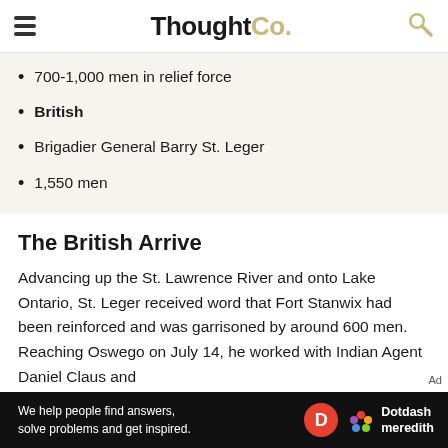ThoughtCo.
700-1,000 men in relief force
British
Brigadier General Barry St. Leger
1,550 men
The British Arrive
Advancing up the St. Lawrence River and onto Lake Ontario, St. Leger received word that Fort Stanwix had been reinforced and was garrisoned by around 600 men. Reaching Oswego on July 14, he worked with Indian Agent Daniel Claus and
[Figure (other): Dotdash Meredith advertisement banner: 'We help people find answers, solve problems and get inspired.']